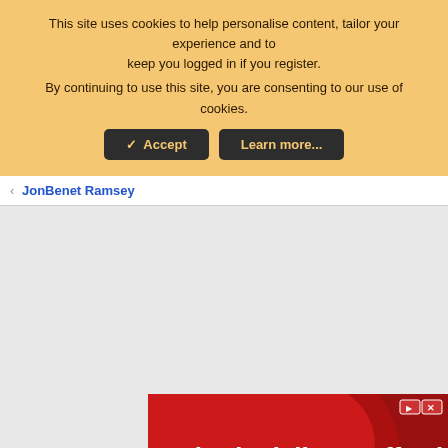This site uses cookies to help personalise content, tailor your experience and to keep you logged in if you register.
By continuing to use this site, you are consenting to our use of cookies.
[Figure (screenshot): Cookie consent banner with Accept and Learn more buttons on amber/gold background]
JonBenet Ramsey
[Figure (infographic): Advertisement: Nobody delivers affordable healthcare like we do! ClamDOC - red background with wave design]